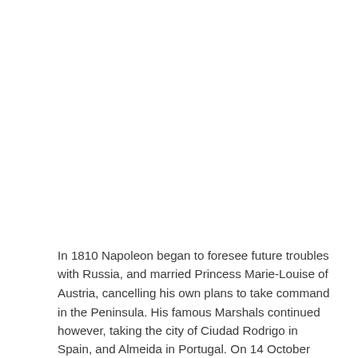In 1810 Napoleon began to foresee future troubles with Russia, and married Princess Marie-Louise of Austria, cancelling his own plans to take command in the Peninsula. His famous Marshals continued however, taking the city of Ciudad Rodrigo in Spain, and Almeida in Portugal. On 14 October French forces approached the defended lines at Torres Vedras and decided against an attack. Instead they retreated back into Spain, taking Badajoz on the way. On 31 July Wellington was made full General.